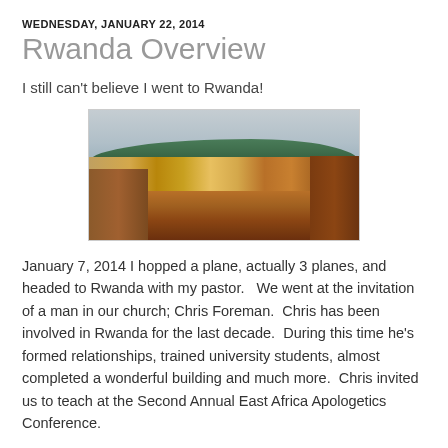WEDNESDAY, JANUARY 22, 2014
Rwanda Overview
I still can't believe I went to Rwanda!
[Figure (photo): Panoramic photo of a compound in Rwanda showing red-walled buildings, a dirt road, and green hills in the background under an overcast sky.]
January 7, 2014 I hopped a plane, actually 3 planes, and headed to Rwanda with my pastor.   We went at the invitation of a man in our church; Chris Foreman.  Chris has been involved in Rwanda for the last decade.  During this time he's formed relationships, trained university students, almost completed a wonderful building and much more.  Chris invited us to teach at the Second Annual East Africa Apologetics Conference.
Mark and I landed in Kigali late Wednesday night, we both